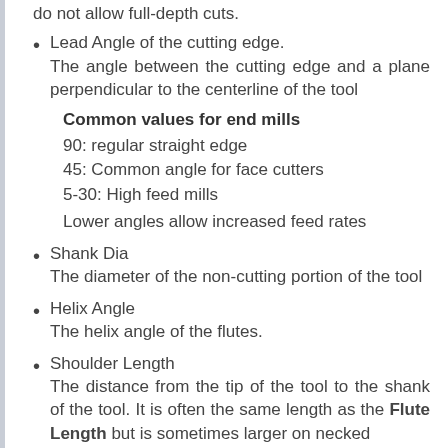do not allow full-depth cuts.
Lead Angle of the cutting edge. The angle between the cutting edge and a plane perpendicular to the centerline of the tool
Common values for end mills
90: regular straight edge
45: Common angle for face cutters
5-30: High feed mills
Lower angles allow increased feed rates
Shank Dia The diameter of the non-cutting portion of the tool
Helix Angle The helix angle of the flutes.
Shoulder Length The distance from the tip of the tool to the shank of the tool. It is often the same length as the Flute Length but is sometimes larger on necked